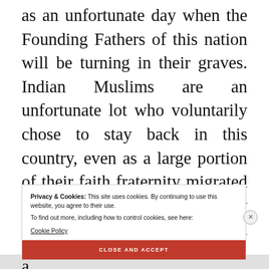as an unfortunate day when the Founding Fathers of this nation will be turning in their graves. Indian Muslims are an unfortunate lot who voluntarily chose to stay back in this country, even as a large portion of their faith fraternity migrated to the newly founded 'Holy State'. They took this stand with calculated risks, knowing well they would forever remain
Privacy & Cookies: This site uses cookies. By continuing to use this website, you agree to their use.
To find out more, including how to control cookies, see here:
Cookie Policy
CLOSE AND ACCEPT